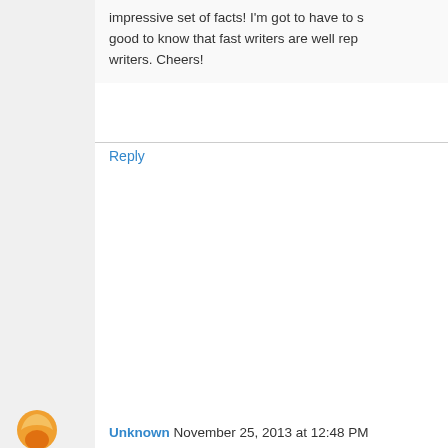impressive set of facts! I'm got to have to s... good to know that fast writers are well rep... writers. Cheers!
Reply
Unknown November 25, 2013 at 12:48 PM